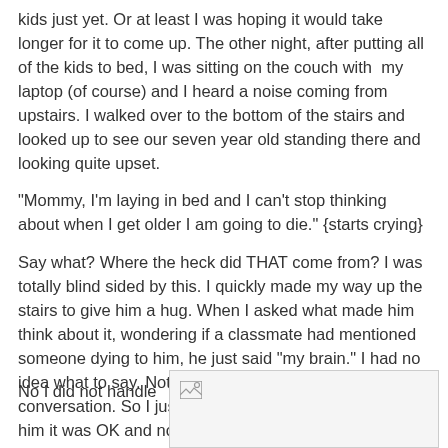kids just yet. Or at least I was hoping it would take longer for it to come up. The other night, after putting all of the kids to bed, I was sitting on the couch with my laptop (of course) and I heard a noise coming from upstairs. I walked over to the bottom of the stairs and looked up to see our seven year old standing there and looking quite upset.
"Mommy, I'm laying in bed and I can't stop thinking about when I get older I am going to die." {starts crying}
Say what? Where the heck did THAT come from? I was totally blind sided by this. I quickly made my way up the stairs to give him a hug. When I asked what made him think about it, wondering if a classmate had mentioned someone dying to him, he just said "my brain." I had no idea what to say. Not a clue. I wasn't prepared for this conversation. So I just continued to hold him and told him it was OK and not to think about it. I brought him back to his room and turned on his radio so he could fall asleep to some music. He was out shortly after.
No I did not handle
[Figure (photo): A partially visible image placeholder in the bottom right area of the page, showing a small broken/loading image icon.]